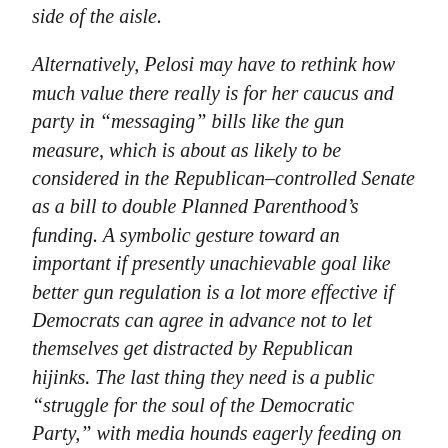side of the aisle.
Alternatively, Pelosi may have to rethink how much value there really is for her caucus and party in “messaging” bills like the gun measure, which is about as likely to be considered in the Republican-controlled Senate as a bill to double Planned Parenthood’s funding. A symbolic gesture toward an important if presently unachievable goal like better gun regulation is a lot more effective if Democrats can agree in advance not to let themselves get distracted by Republican hijinks. The last thing they need is a public “struggle for the soul of the Democratic Party,” with media hounds eagerly feeding on every morsel of conflict.